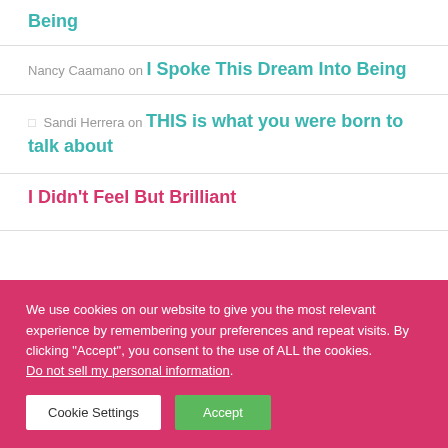Alexia Vernon on I Spoke This Dream Into Being
Nancy Caamano on I Spoke This Dream Into Being
Sandi Herrera on THIS is what you were born to talk about
I Didn't Feel But Brilliant
We use cookies on our website to give you the most relevant experience by remembering your preferences and repeat visits. By clicking “Accept”, you consent to the use of ALL the cookies.
Do not sell my personal information.